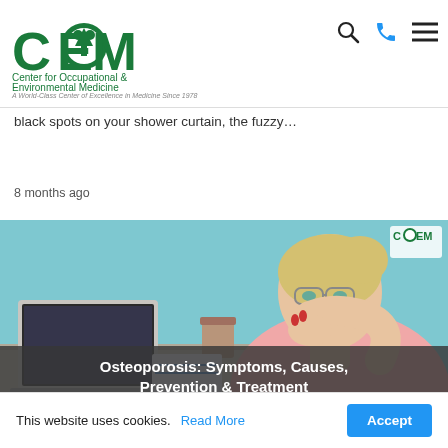Center for Occupational & Environmental Medicine — navigation header with logo, search, phone, and menu icons
black spots on your shower curtain, the fuzzy…
8 months ago
[Figure (photo): Woman in pink top holding her neck in apparent pain, seated at a desk with a laptop and cup, against a teal background. COEM logo watermark top-right. Title bar overlay: 'Osteoporosis: Symptoms, Causes, Prevention & Treatment']
Osteoporosis: Symptoms, Causes, Prevention & Treatment
This website uses cookies. Read More  Accept